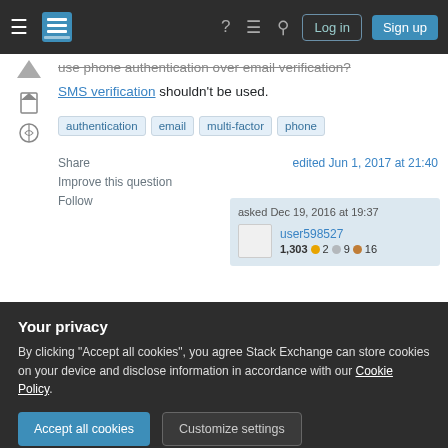Stack Exchange navigation bar with hamburger menu, logo, help, chat, search icons, Log in and Sign up buttons
use phone authentication over email verification? SMS verification shouldn't be used.
authentication
email
multi-factor
phone
Share
Improve this question
Follow
edited Jun 1, 2017 at 21:40
asked Dec 19, 2016 at 19:37 user598527 1,303 2 9 16
Your privacy
By clicking "Accept all cookies", you agree Stack Exchange can store cookies on your device and disclose information in accordance with our Cookie Policy.
Accept all cookies
Customize settings
A good practice in two-factor authentication is to use